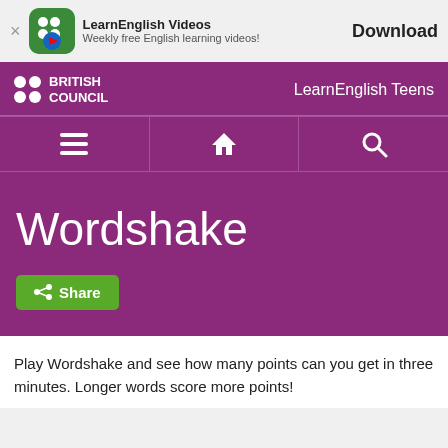[Figure (screenshot): App banner for LearnEnglish Videos with British Council logo icon, app name, subtitle 'Weekly free English learning videos!', and a Download button]
LearnEnglish Videos
Weekly free English learning videos!
Download
[Figure (screenshot): British Council LearnEnglish Teens website header with logo, navigation icons (menu, home, search), hero section titled 'Wordshake', and a Share button]
Wordshake
Play Wordshake and see how many points can you get in three minutes. Longer words score more points!